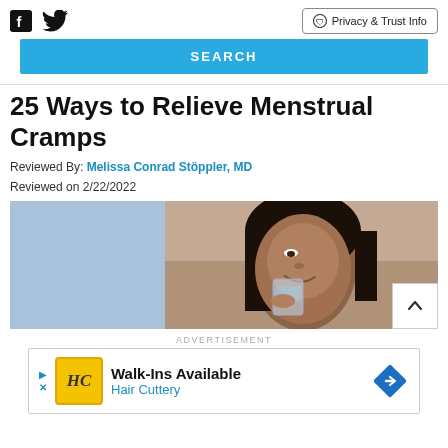Facebook icon, Twitter icon, Privacy & Trust Info button
[Figure (screenshot): Blue SEARCH button bar]
25 Ways to Relieve Menstrual Cramps
Reviewed By: Melissa Conrad Stöppler, MD
Reviewed on 2/22/2022
[Figure (photo): A woman drinking a glass of water, with a blue background on the left side and a blurred indoor background on the right]
ADVERTISEMENT
[Figure (other): Advertisement: Walk-Ins Available, Hair Cuttery. Shows HC logo on yellow background and a blue diamond direction sign.]